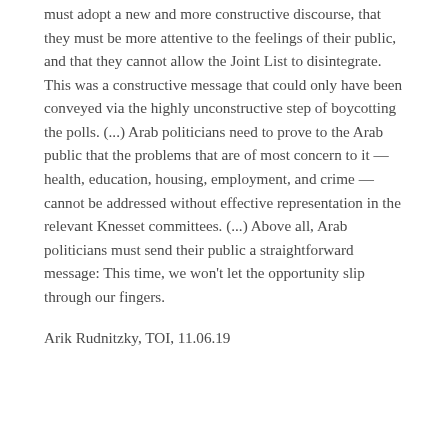must adopt a new and more constructive discourse, that they must be more attentive to the feelings of their public, and that they cannot allow the Joint List to disintegrate. This was a constructive message that could only have been conveyed via the highly unconstructive step of boycotting the polls. (...) Arab politicians need to prove to the Arab public that the problems that are of most concern to it — health, education, housing, employment, and crime — cannot be addressed without effective representation in the relevant Knesset committees. (...) Above all, Arab politicians must send their public a straightforward message: This time, we won't let the opportunity slip through our fingers.
Arik Rudnitzky, TOI, 11.06.19